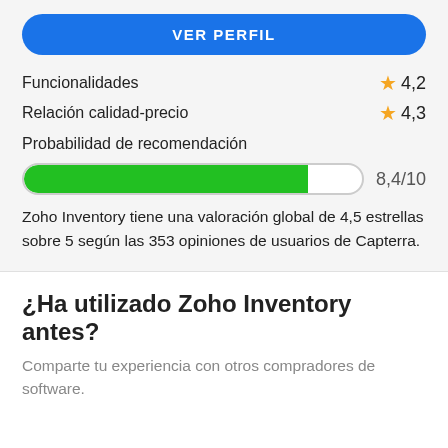VER PERFIL
Funcionalidades  ★ 4,2
Relación calidad-precio  ★ 4,3
Probabilidad de recomendación
[Figure (other): Progress bar showing 8,4/10 recommendation probability, approximately 84% filled in green]
Zoho Inventory tiene una valoración global de 4,5 estrellas sobre 5 según las 353 opiniones de usuarios de Capterra.
¿Ha utilizado Zoho Inventory antes?
Comparte tu experiencia con otros compradores de software.